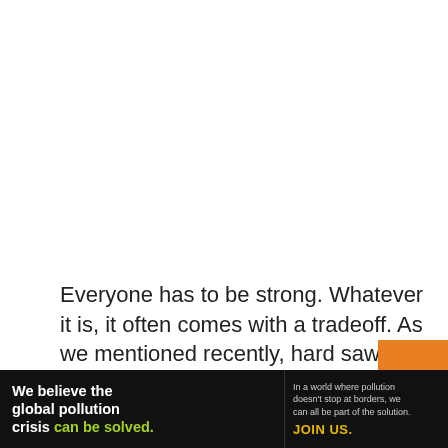Everyone has to be strong. Whatever it is, it often comes with a tradeoff. As we mentioned recently, hard saws are generally heavier and less compact. Strength saws are similarly regularly increasingly expensive
[Figure (other): Advertisement banner for Pure Earth organization. Black background on left showing text 'We believe the global pollution crisis can be solved.' in white with 'can be solved.' in green. Middle section with smaller text 'In a world where pollution doesn't stop at borders, we can all be part of the solution.' and 'JOIN US.' in yellow. Right section with white background showing Pure Earth logo (diamond-shaped layered icon in gold/yellow) and 'PURE EARTH' text in dark.]